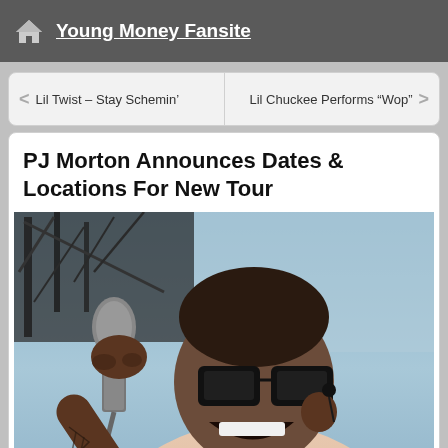Young Money Fansite
Lil Twist – Stay Schemin'
Lil Chuckee Performs "Wop"
PJ Morton Announces Dates & Locations For New Tour
[Figure (photo): PJ Morton performing on stage, holding a microphone, wearing black-rimmed glasses and a light pink/beige jacket over a white shirt, mouth open singing, with a tattoo visible on his forearm, stage rigging visible in background.]